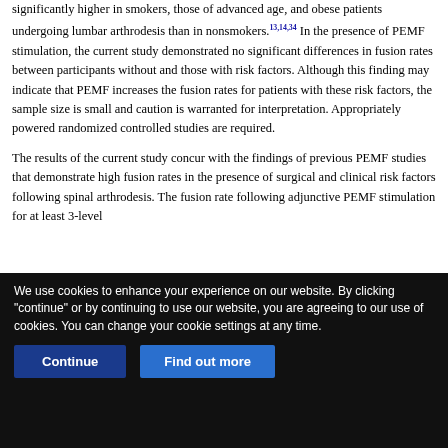significantly higher in smokers, those of advanced age, and obese patients undergoing lumbar arthrodesis than in nonsmokers.13,14,34 In the presence of PEMF stimulation, the current study demonstrated no significant differences in fusion rates between participants without and those with risk factors. Although this finding may indicate that PEMF increases the fusion rates for patients with these risk factors, the sample size is small and caution is warranted for interpretation. Appropriately powered randomized controlled studies are required.
The results of the current study concur with the findings of previous PEMF studies that demonstrate high fusion rates in the presence of surgical and clinical risk factors following spinal arthrodesis. The fusion rate following adjunctive PEMF stimulation for at least 3-level
We use cookies to enhance your experience on our website. By clicking "continue" or by continuing to use our website, you are agreeing to our use of cookies. You can change your cookie settings at any time.